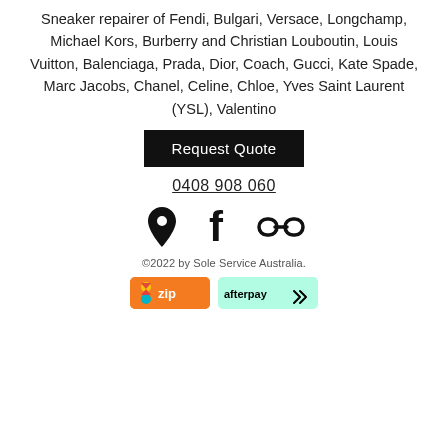Sneaker repairer of Fendi, Bulgari, Versace, Longchamp, Michael Kors, Burberry and Christian Louboutin, Louis Vuitton, Balenciaga, Prada, Dior, Coach, Gucci, Kate Spade, Marc Jacobs, Chanel, Celine, Chloe, Yves Saint Laurent (YSL), Valentino
Request Quote
0408 908 060
[Figure (infographic): Three icons: map pin/location icon, Facebook 'f' icon, and a chain/link icon]
©2022 by Sole Service Australia.
[Figure (infographic): Payment method badges: Zip (orange background with colorful logo and 'zip' text) and Afterpay (mint/teal background with 'afterpay' text and arrow icon)]